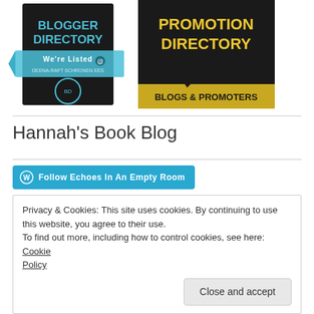[Figure (logo): Two directory badge images side by side: left is a Blogger Directory badge (black background, blue ribbon saying 'We're Listed') and right is a Promotion Directory badge (black background, gold text 'BLOGS & PROMOTERS')]
Hannah's Book Blog
[Figure (other): Teal button with WordPress icon reading 'Follow Echoes In An Empty Room']
Privacy & Cookies: This site uses cookies. By continuing to use this website, you agree to their use.
To find out more, including how to control cookies, see here: Cookie Policy
Close and accept
Email Address